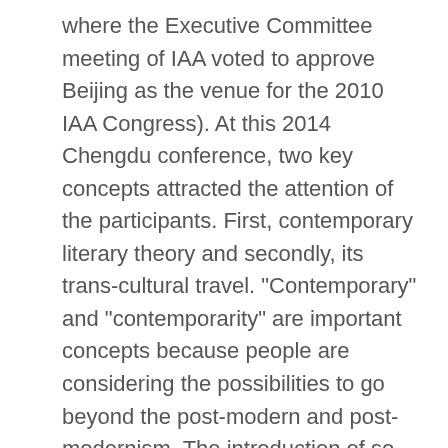where the Executive Committee meeting of IAA voted to approve Beijing as the venue for the 2010 IAA Congress). At this 2014 Chengdu conference, two key concepts attracted the attention of the participants. First, contemporary literary theory and secondly, its trans-cultural travel. "Contemporary" and "contemporarity" are important concepts because people are considering the possibilities to go beyond the post-modern and post-modernism. The introduction of so many different theories into China has contributed to confusion among Chinese scholars. They now wish to return to their own ways of living and artistic practices. Their aim is to find possibilities for focusing on their own practices while continuing to introduce the theories from abroad. Secondly, the matter of the trans-cultural travel of theories is important. During the 20th century, many theories have become influential internationally. Most of them originated from Europe and became internationally influential by way of their